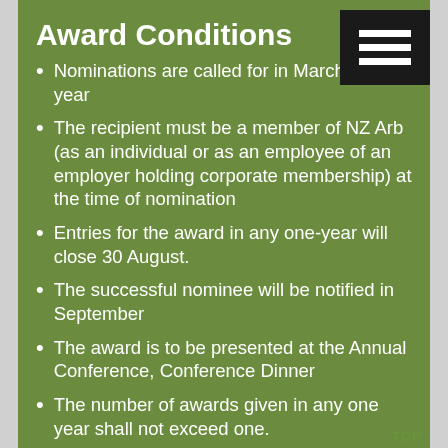Award Conditions
Nominations are called for in March of each year
The recipient must be a member of NZ Arb (as an individual or as an employee of an employer holding corporate membership) at the time of nomination
Entries for the award in any one-year will close 30 August.
The successful nominee will be notified in September
The award is to be presented at the Annual Conference, Conference Dinner
The number of awards given in any one year shall not exceed one.
The awards committee reserves the right not to make an award in any one year if in its opinion nominations received are of insufficient merit
The Awards Committee shall be the Executive Committee of the NZ Arb or a subcommittee appointed by the National Executive to oversee the